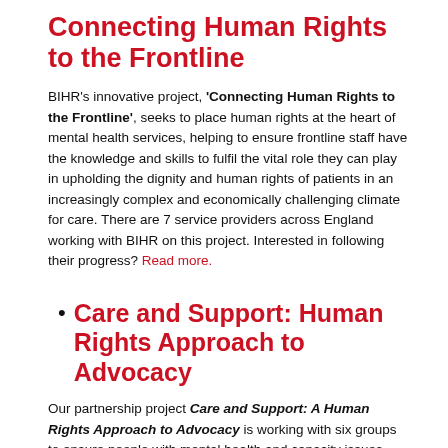Connecting Human Rights to the Frontline
BIHR's innovative project, 'Connecting Human Rights to the Frontline', seeks to place human rights at the heart of mental health services, helping to ensure frontline staff have the knowledge and skills to fulfil the vital role they can play in upholding the dignity and human rights of patients in an increasingly complex and economically challenging climate for care. There are 7 service providers across England working with BIHR on this project. Interested in following their progress? Read more.
Care and Support: Human Rights Approach to Advocacy
Our partnership project Care and Support: A Human Rights Approach to Advocacy is working with six groups to ensure people with mental health and capacity issues have increased control and autonomy over treatment decisions, and make sure they are treated with dignity and respect. For more information